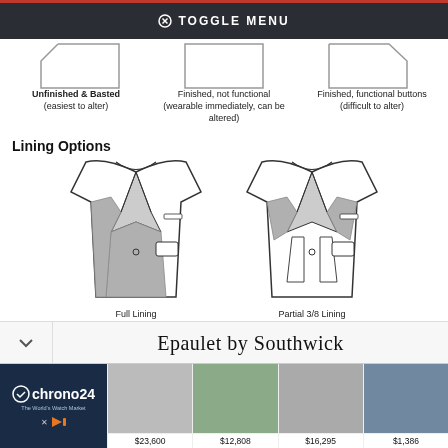TOGGLE MENU
[Figure (illustration): Three jacket sleeve button options: Unfinished & Basted (easiest to alter), Finished not functional (wearable immediately, can be altered), Finished functional buttons (difficult to alter)]
Unfinished & Basted
(easiest to alter)
Finished, not functional
(wearable immediately, can be altered)
Finished, functional buttons
(difficult to alter)
Lining Options
[Figure (illustration): Two jacket lining diagrams: Full Lining (most formal and insulating, n/a in single-brested soft shoulder) and Partial 3/8 Lining (cooler and lighter, available in all jacket shapes)]
Full Lining
(most formal and insulating)
(n/a in single-brested soft shoulder)
Partial 3/8 Lining
(cooler and lighter)
(available in all jacket shapes)
Epaulet by Southwick
[Figure (screenshot): Chrono24 advertisement showing luxury watches for sale at $23,600, $12,808, $16,295, $1,386]